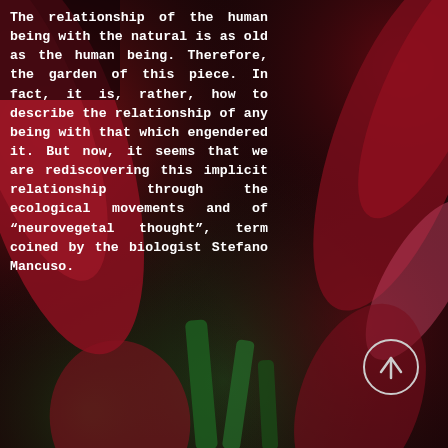[Figure (photo): Dark background photograph of red tropical leaves/flowers (calla lilies or similar) with deep green stems, creating a dramatic dark botanical scene.]
The relationship of the human being with the natural is as old as the human being. Therefore, the garden of this piece. In fact, it is, rather, how to describe the relationship of any being with that which engendered it. But now, it seems that we are rediscovering this implicit relationship through the ecological movements and of “neurovegetal thought”, term coined by the biologist Stefano Mancuso.